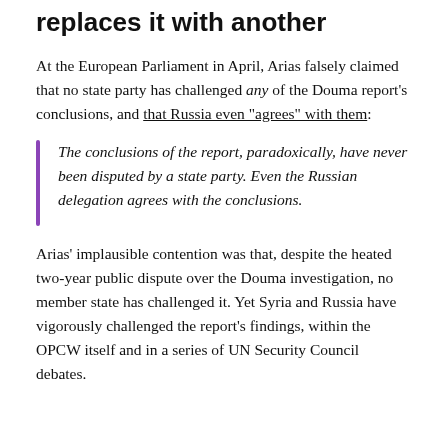replaces it with another
At the European Parliament in April, Arias falsely claimed that no state party has challenged any of the Douma report's conclusions, and that Russia even "agrees" with them:
The conclusions of the report, paradoxically, have never been disputed by a state party. Even the Russian delegation agrees with the conclusions.
Arias' implausible contention was that, despite the heated two-year public dispute over the Douma investigation, no member state has challenged it. Yet Syria and Russia have vigorously challenged the report's findings, within the OPCW itself and in a series of UN Security Council debates.